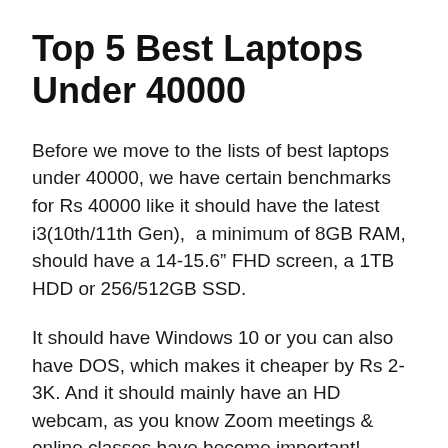Top 5 Best Laptops Under 40000
Before we move to the lists of best laptops under 40000, we have certain benchmarks for Rs 40000 like it should have the latest i3(10th/11th Gen),  a minimum of 8GB RAM, should have a 14-15.6” FHD screen, a 1TB HDD or 256/512GB SSD.
It should have Windows 10 or you can also have DOS, which makes it cheaper by Rs 2-3K. And it should mainly have an HD webcam, as you know Zoom meetings & online classes have become important! Keeping this as a note let’s head over to the top 5 best laptops under 40000 shared